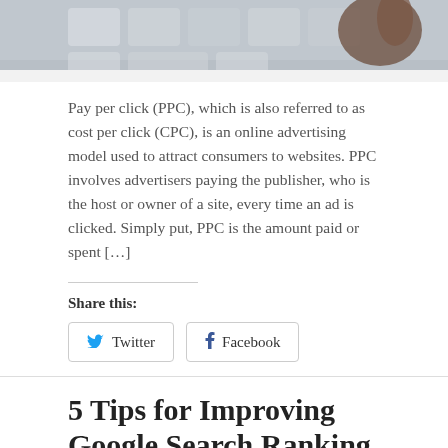[Figure (photo): Close-up photo of a keyboard with a hand visible, gray tones]
Pay per click (PPC), which is also referred to as cost per click (CPC), is an online advertising model used to attract consumers to websites. PPC involves advertisers paying the publisher, who is the host or owner of a site, every time an ad is clicked. Simply put, PPC is the amount paid or spent […]
Share this:
Twitter  Facebook
5 Tips for Improving Google Search Ranking
By Leigh Haugh on January 19, 2016  Business, Google, Headlines, Internet, SEO, Technology